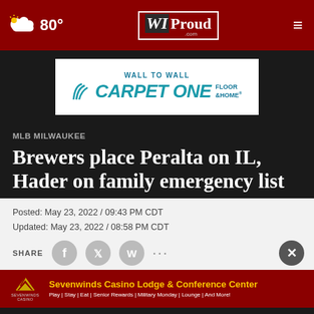WIProud.com — 80° weather
[Figure (other): Wall to Wall Carpet One Floor & Home advertisement banner]
MLB MILWAUKEE
Brewers place Peralta on IL, Hader on family emergency list
Posted: May 23, 2022 / 09:43 PM CDT
Updated: May 23, 2022 / 08:58 PM CDT
SHARE
[Figure (other): Sevenwinds Casino Lodge & Conference Center advertisement — Play | Stay | Eat | Senior Rewards | Military Monday | Lounge | And More!]